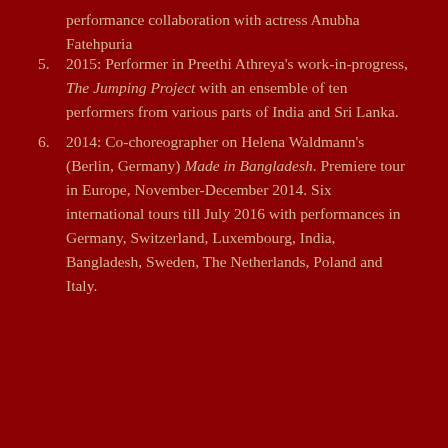performance collaboration with actress Anubha Fatehpuria
5. 2015: Performer in Preethi Athreya's work-in-progress, The Jumping Project with an ensemble of ten performers from various parts of India and Sri Lanka.
6. 2014: Co-choreographer on Helena Waldmann's (Berlin, Germany) Made in Bangladesh. Premiere tour in Europe, November-December 2014. Six international tours till July 2016 with performances in Germany, Switzerland, Luxembourg, India, Bangladesh, Sweden, The Netherlands, Poland and Italy.